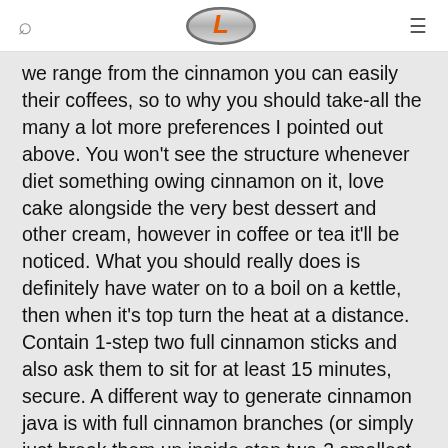we range from the cinnamon you can easily their coffees, so to why you should take-all the many a lot more preferences I pointed out above. You won't see the structure whenever diet something owing cinnamon on it, love cake alongside the very best dessert and other cream, however in coffee or tea it'll be noticed. What you should really does is definitely have water on to a boil on a kettle, then when it's top turn the heat at a distance. Contain 1-step two full cinnamon sticks and also ask them to sit for at least 15 minutes, secure. A different way to generate cinnamon java is with full cinnamon branches (or simply just break them up inside step two-3 smallest sets) and also to allow the coffee